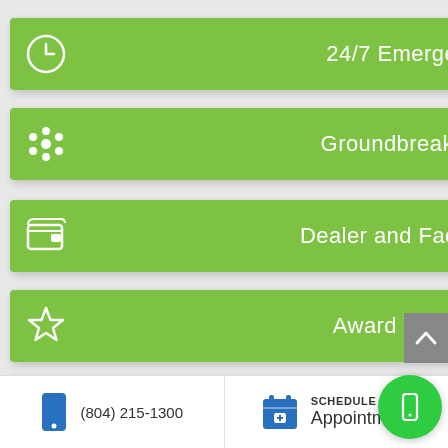24/7 Emergency Service
Groundbreaking Products
Dealer and Factory Discounts
Award Winning Service
Satisfaction Guarnateed
(804) 215-1300
SCHEDULE AN Appointment